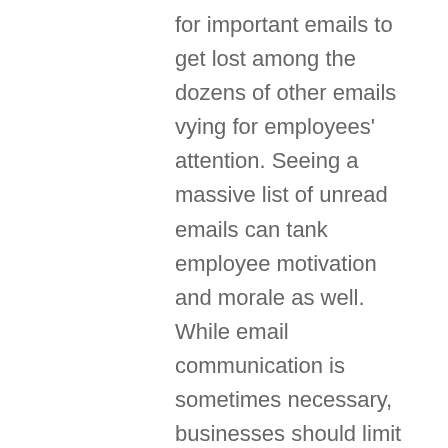for important emails to get lost among the dozens of other emails vying for employees' attention. Seeing a massive list of unread emails can tank employee motivation and morale as well. While email communication is sometimes necessary, businesses should limit the overall number of emails they send to employees.
3. Encourage open communication within teams. Many businesses have a hierarchy of responsibility, which can make